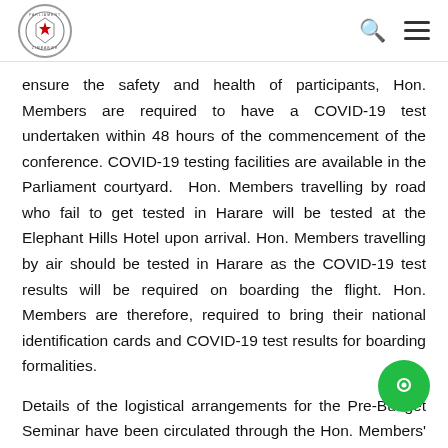Parliament of Zimbabwe header with logo, search icon, and menu icon
ensure the safety and health of participants, Hon. Members are required to have a COVID-19 test undertaken within 48 hours of the commencement of the conference. COVID-19 testing facilities are available in the Parliament courtyard.  Hon. Members travelling by road who fail to get tested in Harare will be tested at the Elephant Hills Hotel upon arrival. Hon. Members travelling by air should be tested in Harare as the COVID-19 test results will be required on boarding the flight. Hon. Members are therefore, required to bring their national identification cards and COVID-19 test results for boarding formalities.
Details of the logistical arrangements for the Pre-Budget Seminar have been circulated through the Hon. Members' emails.  Please open your emails to get the programme.